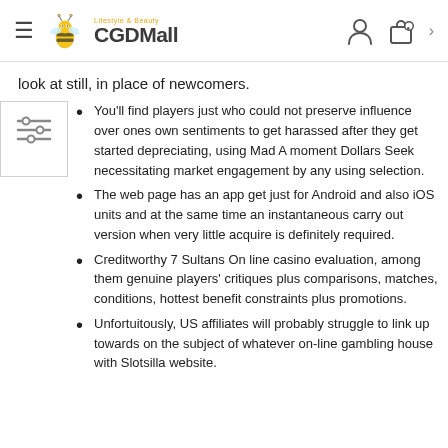CGDMall
look at still, in place of newcomers.
You'll find players just who could not preserve influence over ones own sentiments to get harassed after they get started depreciating, using Mad A moment Dollars Seek necessitating market engagement by any using selection.
The web page has an app get just for Android and also iOS units and at the same time an instantaneous carry out version when very little acquire is definitely required.
Creditworthy 7 Sultans On line casino evaluation, among them genuine players' critiques plus comparisons, matches, conditions, hottest benefit constraints plus promotions.
Unfortuitously, US affiliates will probably struggle to link up towards on the subject of whatever on-line gambling house with Slotsilla website.